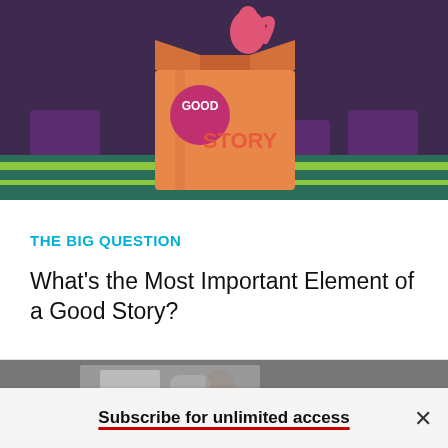[Figure (illustration): Colorful illustration of a box labeled 'GOOD STORY' on a stage with a squirrel peeking out, purple background with teal/green floor and stripe]
THE BIG QUESTION
What's the Most Important Element of a Good Story?
[Figure (photo): Dark, partially visible photograph of a person]
Subscribe for unlimited access